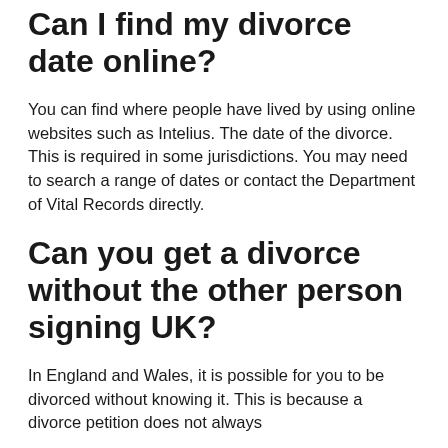Can I find my divorce date online?
You can find where people have lived by using online websites such as Intelius. The date of the divorce. This is required in some jurisdictions. You may need to search a range of dates or contact the Department of Vital Records directly.
Can you get a divorce without the other person signing UK?
In England and Wales, it is possible for you to be divorced without knowing it. This is because a divorce petition does not always reach the person from the other person and